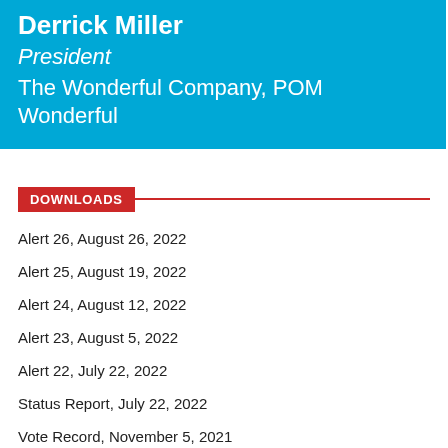Derrick Miller
President
The Wonderful Company, POM Wonderful
DOWNLOADS
Alert 26, August 26, 2022
Alert 25, August 19, 2022
Alert 24, August 12, 2022
Alert 23, August 5, 2022
Alert 22, July 22, 2022
Status Report, July 22, 2022
Vote Record, November 5, 2021
Post Business Votes 2021